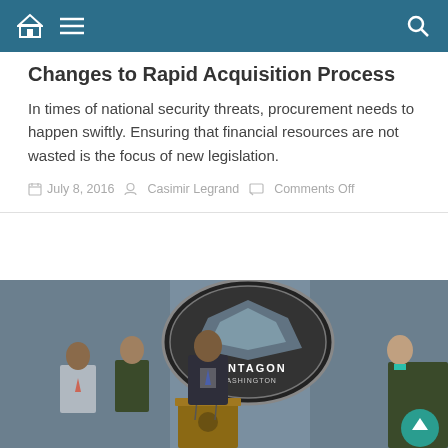Navigation bar with home, menu, and search icons
Changes to Rapid Acquisition Process
In times of national security threats, procurement needs to happen swiftly. Ensuring that financial resources are not wasted is the focus of new legislation.
July 8, 2016   Casimir Legrand   Comments Off
[Figure (photo): Press conference at the Pentagon in Washington. A figure at a podium with military officers and officials standing behind, Pentagon seal/logo visible in background.]